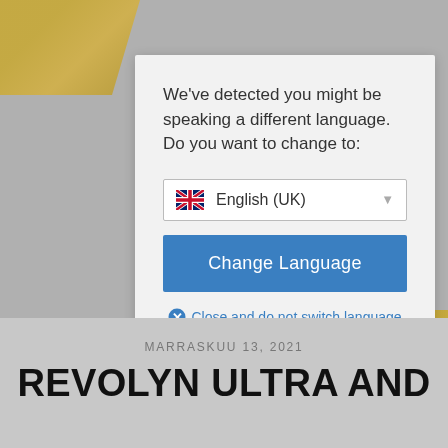[Figure (screenshot): Website screenshot showing a language selection modal dialog with 'English (UK)' dropdown and 'Change Language' button, overlaid on a background with a measuring tape. Below the modal is a date and article title beginning with 'REVOLYN ULTRA AND'.]
We've detected you might be speaking a different language. Do you want to change to:
English (UK)
Change Language
Close and do not switch language
MARRASKUU 13, 2021
REVOLYN ULTRA AND